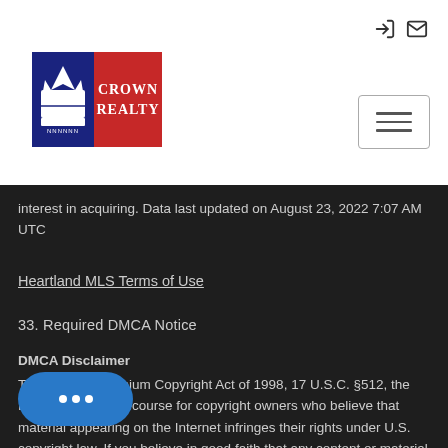[Figure (logo): Crown Realty logo with white crown icon on navy blue background and company name on red background]
interest in acquiring. Data last updated on August 23, 2022 7:07 AM UTC
Heartland MLS Terms of Use
33. Required DMCA Notice
DMCA Disclaimer
The Digital Millennium Copyright Act of 1998, 17 U.S.C. §512, the DMCA, provides recourse for copyright owners who believe that material appearing on the Internet infringes their rights under U.S. copyright law. If you believe in good faith that any content or material made available in connection with our website or
[Figure (screenshot): Blue chat button with three dots]